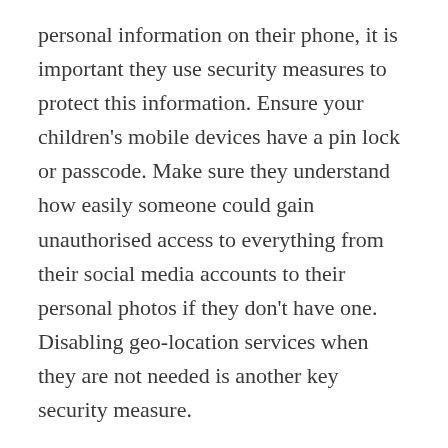personal information on their phone, it is important they use security measures to protect this information. Ensure your children's mobile devices have a pin lock or passcode. Make sure they understand how easily someone could gain unauthorised access to everything from their social media accounts to their personal photos if they don't have one. Disabling geo-location services when they are not needed is another key security measure.
You should also encourage your children to consider the personal information they share mobile apps. Ensure they only download apps